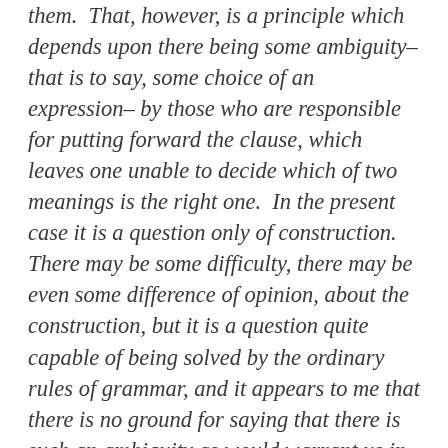them. That, however, is a principle which depends upon there being some ambiguity– that is to say, some choice of an expression– by those who are responsible for putting forward the clause, which leaves one unable to decide which of two meanings is the right one. In the present case it is a question only of construction. There may be some difficulty, there may be even some difference of opinion, about the construction, but it is a question quite capable of being solved by the ordinary rules of grammar, and it appears to me that there is no ground for saying that there is such an ambiguity as would warrant us in reading the clause otherwise than in